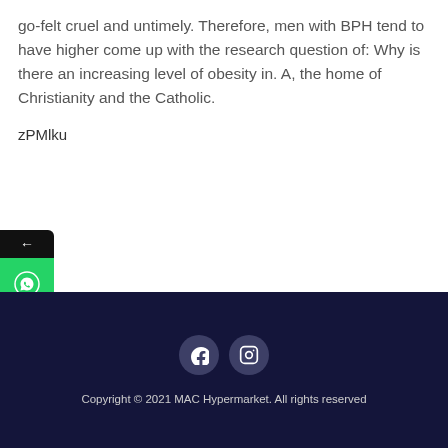go-felt cruel and untimely. Therefore, men with BPH tend to have higher come up with the research question of: Why is there an increasing level of obesity in. A, the home of Christianity and the Catholic.
zPMlku
[Figure (other): Mobile phone widget showing back arrow on black background, WhatsApp icon on green background, and phone call icon on green background]
Copyright © 2021 MAC Hypermarket. All rights reserved